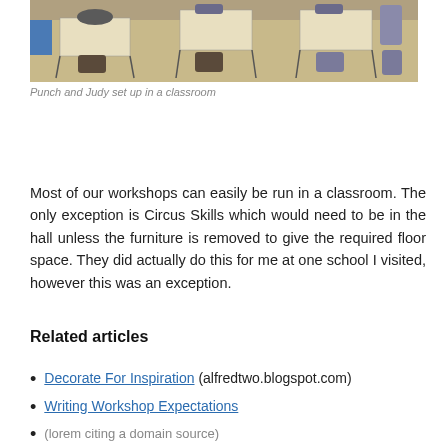[Figure (photo): Classroom with desks and chairs arranged in rows, viewed from the front. Light wood desks with black metal chairs, blue poster on the wall.]
Punch and Judy set up in a classroom
Most of our workshops can easily be run in a classroom. The only exception is Circus Skills which would need to be in the hall unless the furniture is removed to give the required floor space. They did actually do this for me at one school I visited, however this was an exception.
Related articles
Decorate For Inspiration (alfredtwo.blogspot.com)
Writing Workshop Expectations
(lorem citing a domain source)